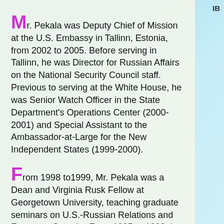Mr. Pekala was Deputy Chief of Mission at the U.S. Embassy in Tallinn, Estonia, from 2002 to 2005. Before serving in Tallinn, he was Director for Russian Affairs on the National Security Council staff. Previous to serving at the White House, he was Senior Watch Officer in the State Department's Operations Center (2000-2001) and Special Assistant to the Ambassador-at-Large for the New Independent States (1999-2000).
From 1998 to1999, Mr. Pekala was a Dean and Virginia Rusk Fellow at Georgetown University, teaching graduate seminars on U.S.-Russian Relations and European Security. From 1995 to 1998, he was First Secretary at the U.S. Mission to NATO in Brussels, Belgium, where he contributed to the drafting and negotiation of the NATO-Russia